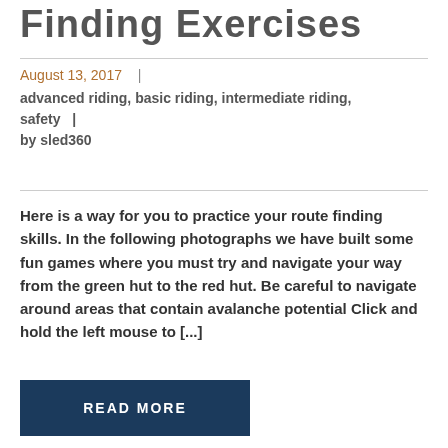Finding Exercises
August 13, 2017 | advanced riding, basic riding, intermediate riding, safety | by sled360
Here is a way for you to practice your route finding skills. In the following photographs we have built some fun games where you must try and navigate your way from the green hut to the red hut. Be careful to navigate around areas that contain avalanche potential Click and hold the left mouse to [...]
READ MORE